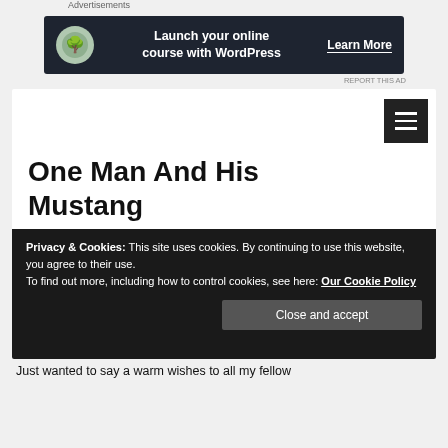Advertisements
[Figure (infographic): Advertisement banner: dark background with bonsai tree icon, text 'Launch your online course with WordPress', and 'Learn More' call-to-action button]
REPORT THIS AD
One Man And His Mustang
[Figure (photo): Blue vintage Ford Mustang parked in a field with golden wheat and overcast sky]
Privacy & Cookies: This site uses cookies. By continuing to use this website, you agree to their use.
To find out more, including how to control cookies, see here: Our Cookie Policy
Close and accept
Just wanted to say a warm wishes to all my fellow